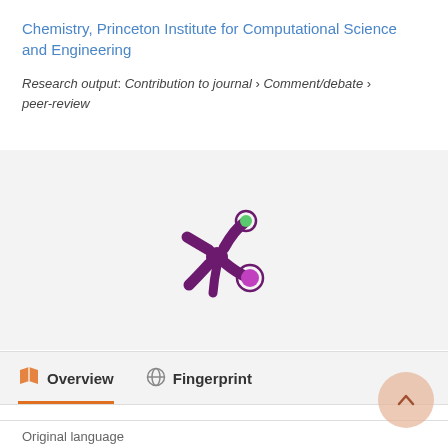Chemistry, Princeton Institute for Computational Science and Engineering
Research output: Contribution to journal › Comment/debate › peer-review
[Figure (logo): Altmetric donut/snowflake logo — purple asterisk shape with green dot upper right and magenta/purple dot lower right on light grey background]
Overview   Fingerprint
Original language
English (US)